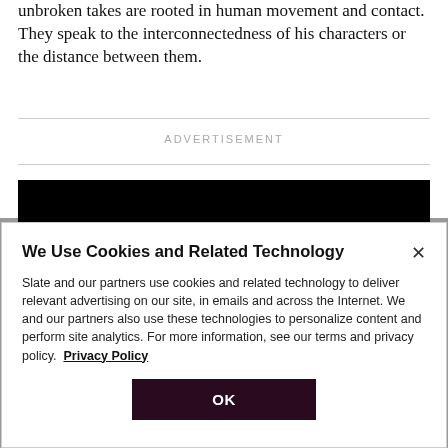unbroken takes are rooted in human movement and contact. They speak to the interconnectedness of his characters or the distance between them.
ADVERTISEMENT
[Figure (other): Black image/video bar at the top of the main content area below the advertisement dividers]
We Use Cookies and Related Technology
Slate and our partners use cookies and related technology to deliver relevant advertising on our site, in emails and across the Internet. We and our partners also use these technologies to personalize content and perform site analytics. For more information, see our terms and privacy policy. Privacy Policy
OK